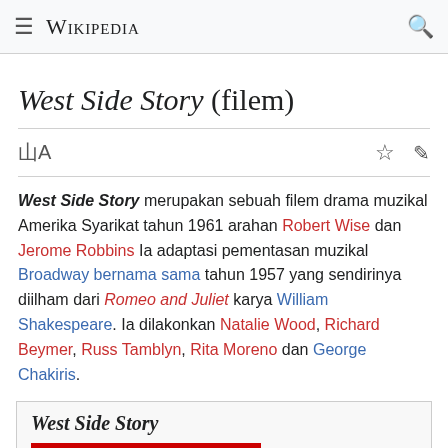≡ Wikipedia 🔍
West Side Story (filem)
West Side Story merupakan sebuah filem drama muzikal Amerika Syarikat tahun 1961 arahan Robert Wise dan Jerome Robbins Ia adaptasi pementasan muzikal Broadway bernama sama tahun 1957 yang sendirinya diilham dari Romeo and Juliet karya William Shakespeare. Ia dilakonkan Natalie Wood, Richard Beymer, Russ Tamblyn, Rita Moreno dan George Chakiris.
West Side Story